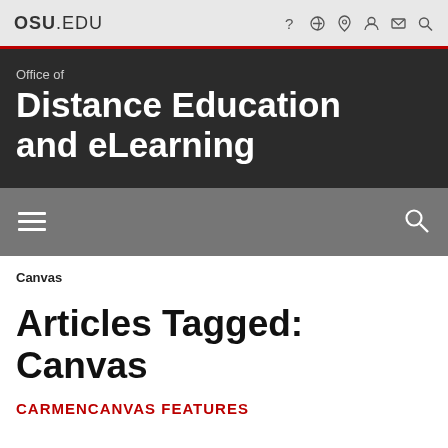OSU.EDU
Office of Distance Education and eLearning
Canvas
Articles Tagged: Canvas
CARMENCANVAS FEATURES